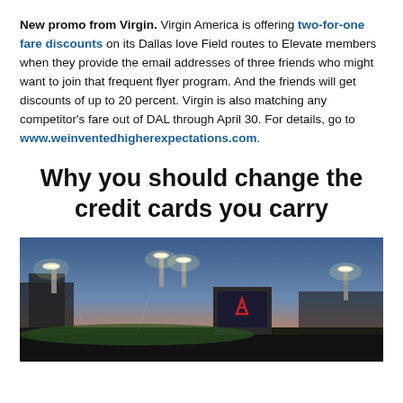New promo from Virgin. Virgin America is offering two-for-one fare discounts on its Dallas love Field routes to Elevate members when they provide the email addresses of three friends who might want to join that frequent flyer program. And the friends will get discounts of up to 20 percent. Virgin is also matching any competitor's fare out of DAL through April 30. For details, go to www.weinventedhigherexpectations.com.
Why you should change the credit cards you carry
[Figure (photo): Photo of a baseball stadium at dusk/sunset with stadium lights, showing the outfield and scoreboard with an Atlanta Braves logo visible.]